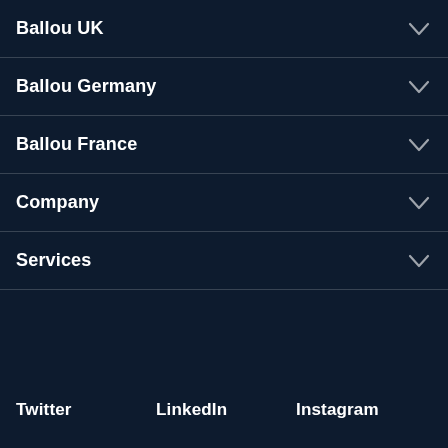Ballou UK
Ballou Germany
Ballou France
Company
Services
Twitter
LinkedIn
Instagram